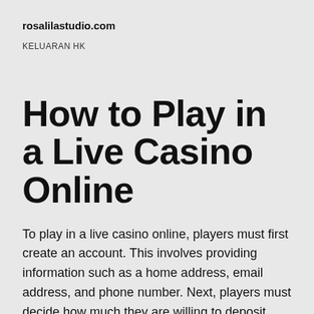rosalilastudio.com
KELUARAN HK
How to Play in a Live Casino Online
To play in a live casino online, players must first create an account. This involves providing information such as a home address, email address, and phone number. Next, players must decide how much they are willing to deposit